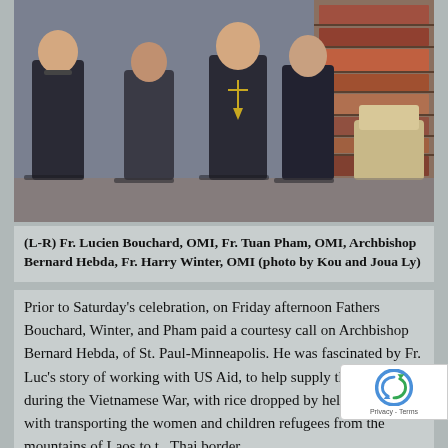[Figure (photo): Group photo of four men standing together in a room with bookshelves. From left to right: Fr. Lucien Bouchard OMI, Fr. Tuan Pham OMI, Archbishop Bernard Hebda, Fr. Harry Winter OMI.]
(L-R) Fr. Lucien Bouchard, OMI, Fr. Tuan Pham, OMI, Archbishop Bernard Hebda, Fr. Harry Winter, OMI (photo by Kou and Joua Ly)
Prior to Saturday's celebration, on Friday afternoon Fathers Bouchard, Winter, and Pham paid a courtesy call on Archbishop  Bernard Hebda, of St. Paul-Minneapolis. He was fascinated by Fr. Luc's story of working with US Aid, to help supply the Hmong during the Vietnamese War, with rice dropped by helicopter, and with transporting the women and children refugees from the mountains of Laos to the Thai border.